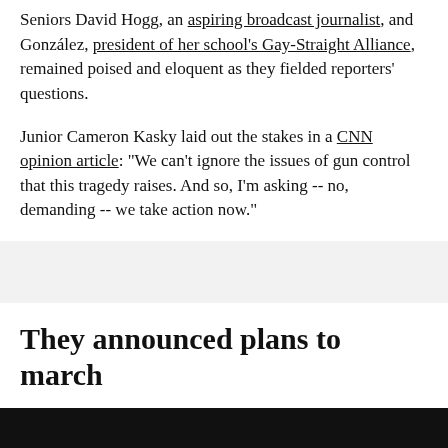Seniors David Hogg, an aspiring broadcast journalist, and González, president of her school's Gay-Straight Alliance, remained poised and eloquent as they fielded reporters' questions.
Junior Cameron Kasky laid out the stakes in a CNN opinion article: "We can't ignore the issues of gun control that this tragedy raises. And so, I'm asking -- no, demanding -- we take action now."
They announced plans to march